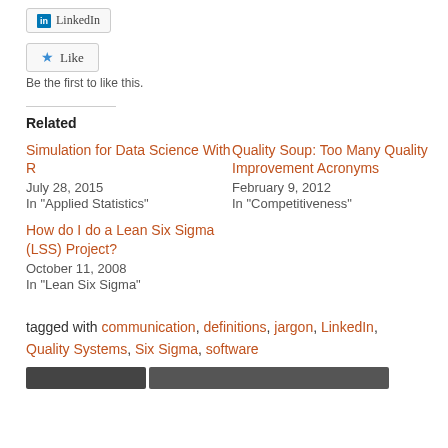[Figure (other): LinkedIn share button]
[Figure (other): Like button with blue star icon]
Be the first to like this.
Related
Simulation for Data Science With R
July 28, 2015
In "Applied Statistics"
Quality Soup: Too Many Quality Improvement Acronyms
February 9, 2012
In "Competitiveness"
How do I do a Lean Six Sigma (LSS) Project?
October 11, 2008
In "Lean Six Sigma"
tagged with communication, definitions, jargon, LinkedIn, Quality Systems, Six Sigma, software